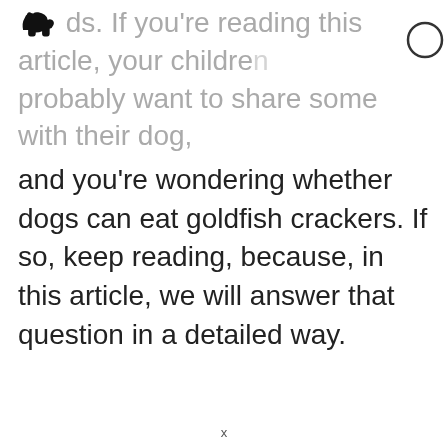they can have a desire to share them with their dogs. If you’re reading this article, your children probably want to share some with their dog, and you’re wondering whether dogs can eat goldfish crackers. If so, keep reading, because, in this article, we will answer that question in a detailed way.